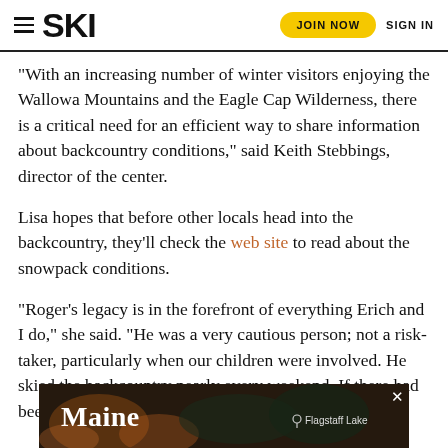SKI | JOIN NOW | SIGN IN
“With an increasing number of winter visitors enjoying the Wallowa Mountains and the Eagle Cap Wilderness, there is a critical need for an efficient way to share information about backcountry conditions,” said Keith Stebbings, director of the center.
Lisa hopes that before other locals head into the backcountry, they’ll check the web site to read about the snowpack conditions.
“Roger’s legacy is in the forefront of everything Erich and I do,” she said. “He was a very cautious person; not a risk-taker, particularly when our children were involved. He skied the backcountry nearly every weekend. If there had been an avalanch[e forecast, he would have read it.]
[Figure (photo): Advertisement banner showing Maine landscape with text 'Maine' and location 'Flagstaff Lake']